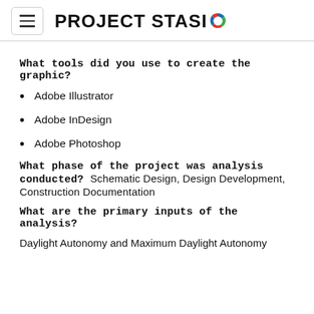PROJECT STASIO
What tools did you use to create the graphic?
Adobe Illustrator
Adobe InDesign
Adobe Photoshop
What phase of the project was analysis conducted? Schematic Design, Design Development, Construction Documentation
What are the primary inputs of the analysis?
Daylight Autonomy and Maximum Daylight Autonomy